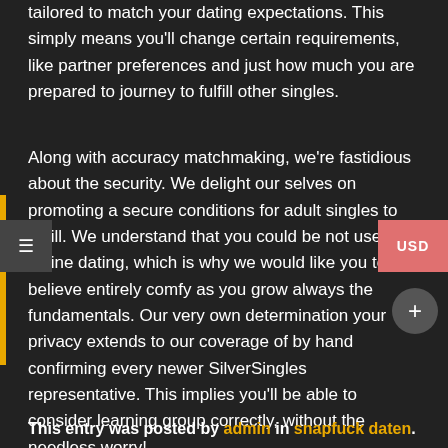tailored to match your dating expectations. This simply means you'll change certain requirements, like partner preferences and just how much you are prepared to journey to fulfill other singles.
Along with accuracy matchmaking, we're fastidious about the security. We delight our selves on promoting a secure conditions for adult singles to fulfill. We understand that you could be not used to online dating, which is why we would like you to believe entirely comfy as you grow always the fundamentals. Our very own determination your privacy extends to our coverage of by hand confirming every newer SilverSingles representative. This implies you'll be able to consider learning group correctly, without the needless worry!
This entry was posted by admin in snapfuck daten.